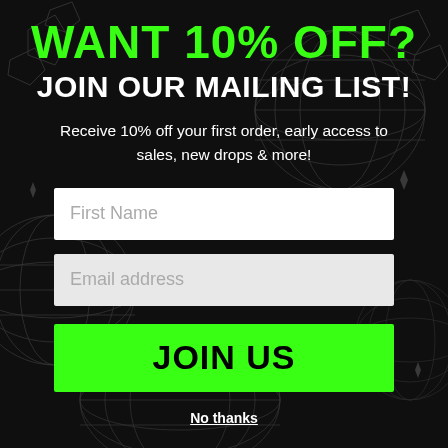[Figure (illustration): Dark black background with wireframe/mesh snake-like coiled shapes and crystal/gem decorative elements in dark gray lines]
WANT 10% OFF?
JOIN OUR MAILING LIST!
Receive 10% off your first order, early access to sales, new drops & more!
First Name
Email address
JOIN US
No thanks